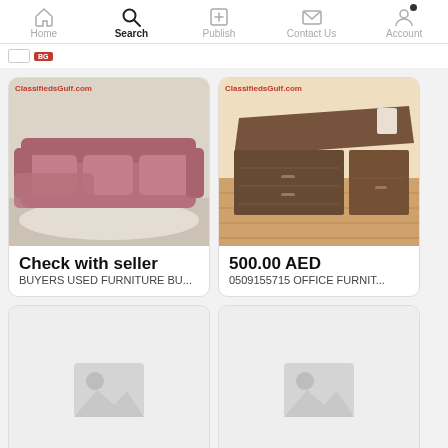Home | Search | Publish | Contact Us | Account
[Figure (screenshot): Listing card: sofa image with ClassifiedsGulf.com watermark]
Check with seller
BUYERS USED FURNITURE BU...
[Figure (screenshot): Listing card: office furniture/desk image with ClassifiedsGulf.com watermark]
500.00 AED
0509155715 OFFICE FURNIT...
[Figure (photo): Placeholder image card (no image loaded)]
[Figure (photo): Placeholder image card (no image loaded)]